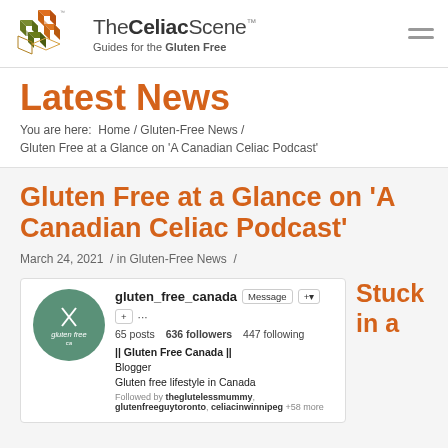[Figure (logo): TheCeliacScene logo with stacked cube graphic and tagline 'Guides for the Gluten Free']
Latest News
You are here:  Home / Gluten-Free News / Gluten Free at a Glance on 'A Canadian Celiac Podcast'
Gluten Free at a Glance on 'A Canadian Celiac Podcast'
March 24, 2021  /  in Gluten-Free News  /
[Figure (screenshot): Instagram profile screenshot for gluten_free_canada showing 65 posts, 636 followers, 447 following, bio: Gluten Free Canada | Blogger | Gluten free lifestyle in Canada]
Stuck in a